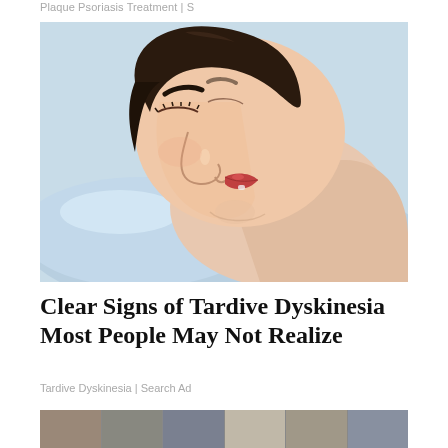Plaque Psoriasis Treatment | S
[Figure (illustration): Cartoon/illustration of a woman sleeping on a pillow, side profile, with drool coming from her mouth onto the pillow. Art style is semi-realistic digital illustration.]
Clear Signs of Tardive Dyskinesia Most People May Not Realize
Tardive Dyskinesia | Search Ad
[Figure (photo): Partial view of a room interior, cropped at bottom of page.]